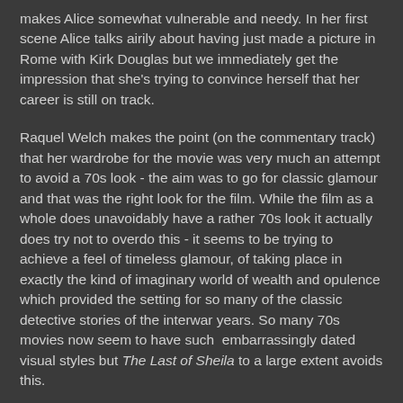makes Alice somewhat vulnerable and needy. In her first scene Alice talks airily about having just made a picture in Rome with Kirk Douglas but we immediately get the impression that she's trying to convince herself that her career is still on track.
Raquel Welch makes the point (on the commentary track) that her wardrobe for the movie was very much an attempt to avoid a 70s look - the aim was to go for classic glamour and that was the right look for the film. While the film as a whole does unavoidably have a rather 70s look it actually does try not to overdo this - it seems to be trying to achieve a feel of timeless glamour, of taking place in exactly the kind of imaginary world of wealth and opulence which provided the setting for so many of the classic detective stories of the interwar years. So many 70s movies now seem to have such  embarrassingly dated visual styles but The Last of Sheila to a large extent avoids this.
It was a lavish production, shot in the south of France, and it looks great.